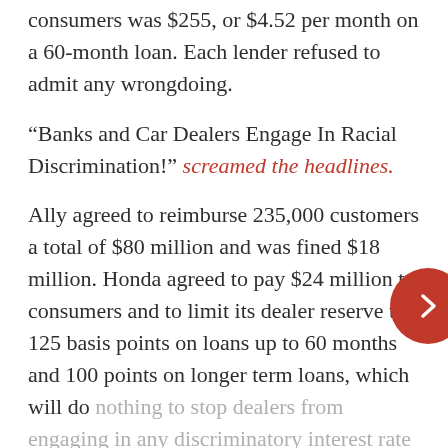consumers was $255, or $4.52 per month on a 60-month loan. Each lender refused to admit any wrongdoing.
“Banks and Car Dealers Engage In Racial Discrimination!” screamed the headlines.
Ally agreed to reimburse 235,000 customers a total of $80 million and was fined $18 million. Honda agreed to pay $24 million to consumers and to limit its dealer reserve to 125 basis points on loans up to 60 months and 100 points on longer term loans, which will do nothing to stop dealers from engaging in any discriminatory interest rate markup.